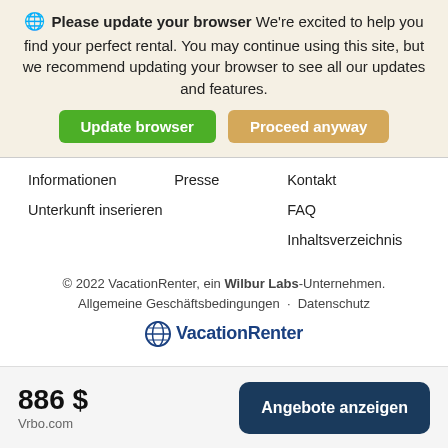Please update your browser We're excited to help you find your perfect rental. You may continue using this site, but we recommend updating your browser to see all our updates and features.
Update browser  Proceed anyway
Informationen
Unterkunft inserieren
Presse
Kontakt
FAQ
Inhaltsverzeichnis
© 2022 VacationRenter, ein Wilbur Labs-Unternehmen.
Allgemeine Geschäftsbedingungen · Datenschutz
[Figure (logo): VacationRenter logo with globe icon]
886 $
Vrbo.com
Angebote anzeigen